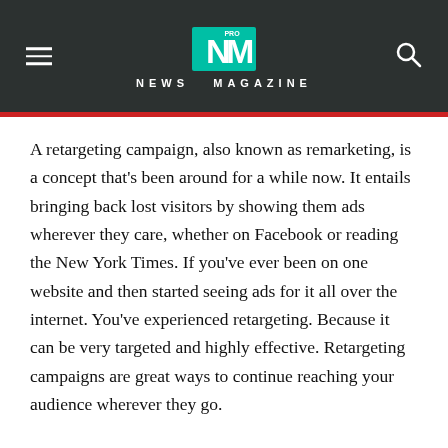NEWS MAGAZINE
A retargeting campaign, also known as remarketing, is a concept that's been around for a while now. It entails bringing back lost visitors by showing them ads wherever they care, whether on Facebook or reading the New York Times. If you've ever been on one website and then started seeing ads for it all over the internet. You've experienced retargeting. Because it can be very targeted and highly effective. Retargeting campaigns are great ways to continue reaching your audience wherever they go.
Retargeting isn't limited to display ad networks like Google AdWords or Facebook Ads. You can also use "retargeted" email campaigns to reach audiences who have seen your site before but may not have come back yet. Using machine learning to develop these email campaigns will be an important part of future digital advertising strategies (see below).